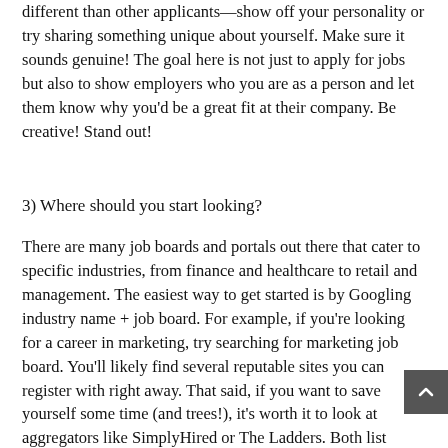different than other applicants—show off your personality or try sharing something unique about yourself. Make sure it sounds genuine! The goal here is not just to apply for jobs but also to show employers who you are as a person and let them know why you'd be a great fit at their company. Be creative! Stand out!
3) Where should you start looking?
There are many job boards and portals out there that cater to specific industries, from finance and healthcare to retail and management. The easiest way to get started is by Googling industry name + job board. For example, if you're looking for a career in marketing, try searching for marketing job board. You'll likely find several reputable sites you can register with right away. That said, if you want to save yourself some time (and trees!), it's worth it to look at aggregators like SimplyHired or The Ladders. Both list thousands of active jobs at multiple sites within the...